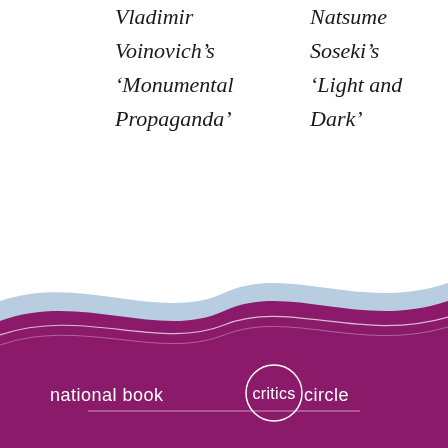Vladimir Voinovich’s ‘Monumental Propaganda’
Natsume Soseki’s ‘Light and Dark’
[Figure (logo): National Book Critics Circle logo: purple/magenta wave banner with white text 'national book critics circle' and a circle around the word 'critics']